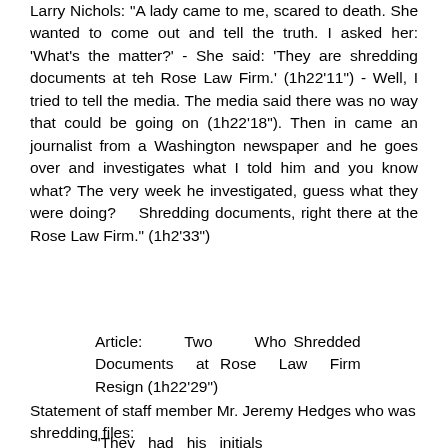Larry Nichols: "A lady came to me, scared to death. She wanted to come out and tell the truth. I asked her: 'What's the matter?' - She said: 'They are shredding documents at teh Rose Law Firm.' (1h22'11") - Well, I tried to tell the media. The media said there was no way that could be going on (1h22'18"). Then in came an journalist from a Washington newspaper and he goes over and investigates what I told him and you know what? The very week he investigated, guess what they were doing? Shredding documents, right there at the Rose Law Firm." (1h2'33")
Article: Two Who Shredded Documents at Rose Law Firm Resign (1h22'29")
Statement of staff member Mr. Jeremy Hedges who was shredding files:
"They had his initials